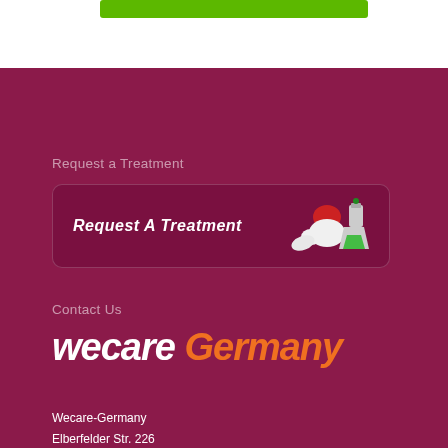[Figure (other): Green button/bar at top of page]
Request a Treatment
[Figure (illustration): Request A Treatment banner with pills and flask icon]
Contact Us
[Figure (logo): wecare Germany logo in white and orange italic bold text]
Wecare-Germany
Elberfelder Str. 226
42781 Haan